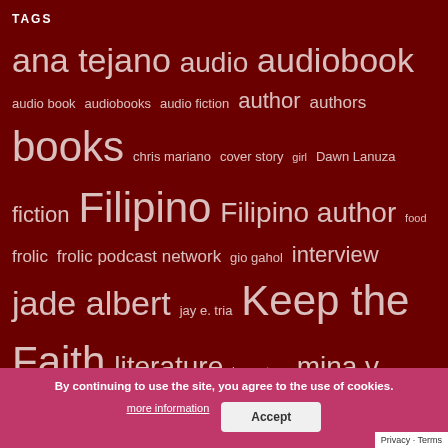TAGS
ana tejano audio audiobook audio book audiobooks audio fiction author authors books chris mariano cover story girl Dawn Lanuza fiction Filipino Filipino author food frolic frolic podcast network gio gahol interview jade albert jay e. tria Keep the Faith literature love story mina v. esguerra narration new adult nomcom novel novella Philippines podcast rachel coates reading romance romance audio romance class romanceclass six de los reyes table read
By continuing to use the site, you agree to the use of cookies. more information Accept